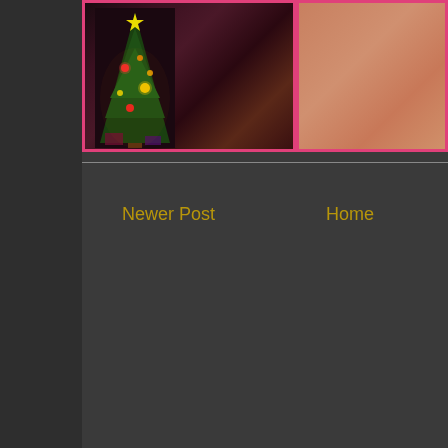[Figure (photo): Partial view of a Christmas tree with ornaments and lights in a dark room, framed with a pink/magenta border]
[Figure (photo): Partial view of a person in a light pink/salmon colored top, framed with a pink/magenta border]
Newer Post
Home